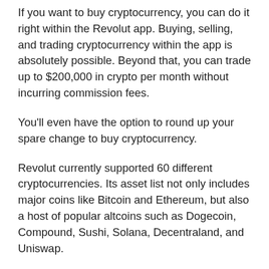If you want to buy cryptocurrency, you can do it right within the Revolut app. Buying, selling, and trading cryptocurrency within the app is absolutely possible. Beyond that, you can trade up to $200,000 in crypto per month without incurring commission fees.
You'll even have the option to round up your spare change to buy cryptocurrency.
Revolut currently supported 60 different cryptocurrencies. Its asset list not only includes major coins like Bitcoin and Ethereum, but also a host of popular altcoins such as Dogecoin, Compound, Sushi, Solana, Decentraland, and Uniswap.
All crypto fees and features highlighted in this article are for customers based in the US only. Revolut's cryptocurrency services in the US are provided directly